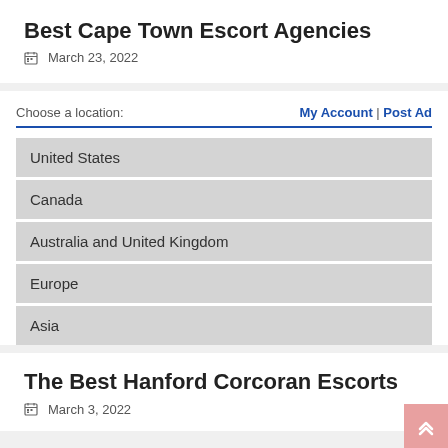Best Cape Town Escort Agencies
March 23, 2022
Choose a location:  My Account | Post Ad
United States
Canada
Australia and United Kingdom
Europe
Asia
The Best Hanford Corcoran Escorts
March 3, 2022